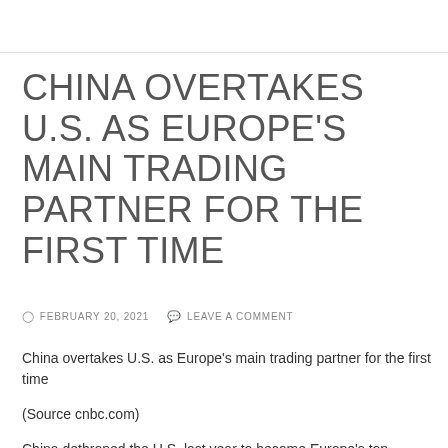CHINA OVERTAKES U.S. AS EUROPE’S MAIN TRADING PARTNER FOR THE FIRST TIME
○ FEBRUARY 20, 2021   💬 LEAVE A COMMENT
China overtakes U.S. as Europe’s main trading partner for the first time
(Source cnbc.com)
China dethroned the U.S. last year to become Europe’s top